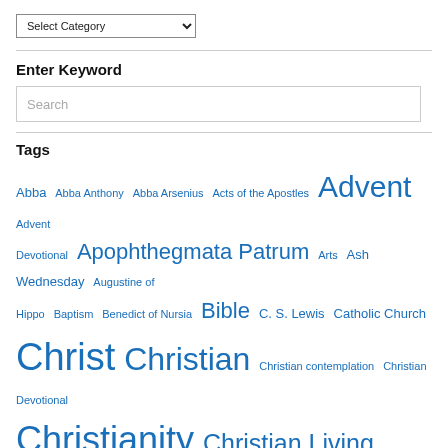[Figure (other): Select Category dropdown menu]
Enter Keyword
[Figure (other): Search text input box with placeholder text 'Search']
Tags
Abba Abba Anthony Abba Arsenius Acts of the Apostles Advent Advent Devotional Apophthegmata Patrum Arts Ash Wednesday Augustine of Hippo Baptism Benedict of Nursia Bible C. S. Lewis Catholic Church Christ Christian Christian contemplation Christian Devotional Christianity Christian Living Christmas Denominations Desert Fathers Desert Fathers and Mothers